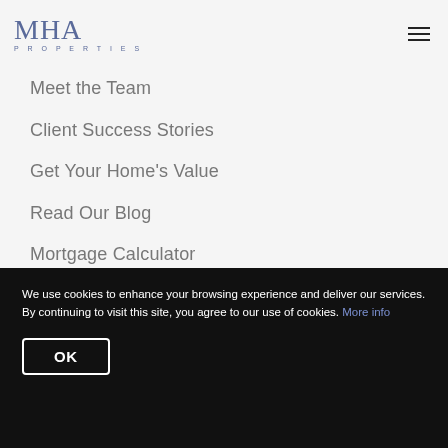MHA PROPERTIES
Meet the Team
Client Success Stories
Get Your Home's Value
Read Our Blog
Mortgage Calculator
Sold Gallery
We use cookies to enhance your browsing experience and deliver our services. By continuing to visit this site, you agree to our use of cookies. More info
OK